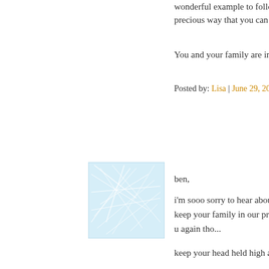wonderful example to follow, a precious way that you can prese
You and your family are in my t
Posted by: Lisa | June 29, 2005 at 09
[Figure (illustration): Small square avatar image with light blue background and white cross-hatch/network pattern lines]
ben,
i'm sooo sorry to hear about you
keep your family in our prayers.
u again tho...
keep your head held high and re things are possible.
hang in there and can't wait to s field again.
praying for u.
god bless,
kate